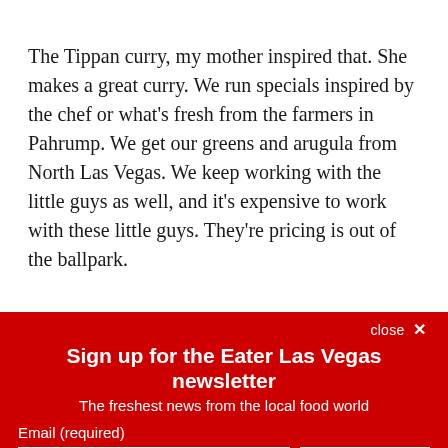The Tippan curry, my mother inspired that. She makes a great curry. We run specials inspired by the chef or what's fresh from the farmers in Pahrump. We get our greens and arugula from North Las Vegas. We keep working with the little guys as well, and it's expensive to work with these little guys. They're pricing is out of the ballpark.
close ×
Sign up for the Eater Las Vegas newsletter
The freshest news from the local food world
Email (required)
SUBSCRIBE
By submitting your email, you agree to our Terms and Privacy Notice. You can opt out at any time. This site is protected by reCAPTCHA and the Google Privacy Policy and Terms of Service apply.